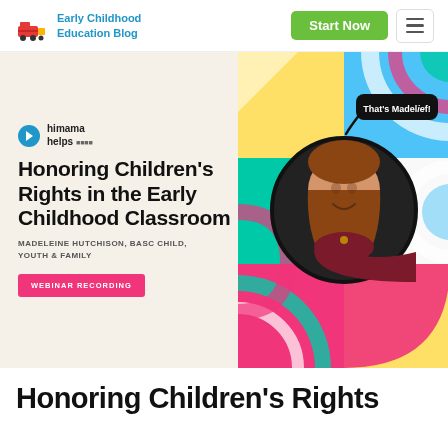Early Childhood Education Blog
[Figure (screenshot): Hero banner for 'Honoring Children's Rights in the Early Childhood Classroom' webinar recording by Madeleine Hutchison, BASc Child, Youth & Family. Features colorful geometric background with circular portrait photo of a young woman. HiMama Helps logo and pink 'Webinar Recording' button visible.]
Honoring Children's Rights